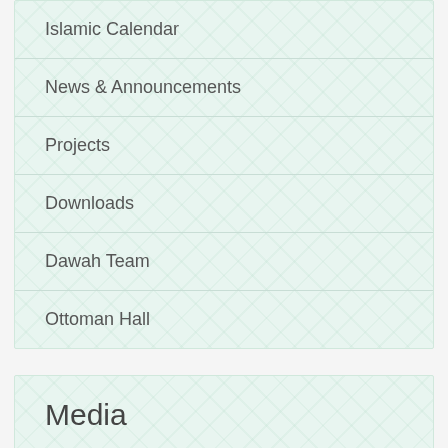Islamic Calendar
News & Announcements
Projects
Downloads
Dawah Team
Ottoman Hall
Media
Images